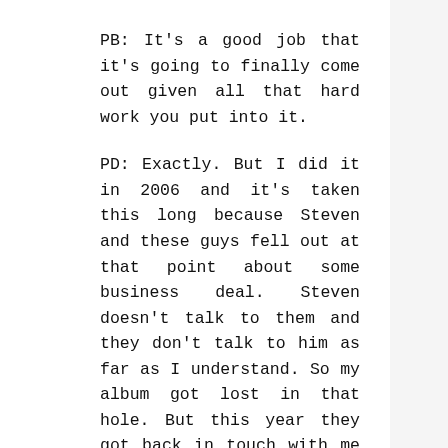PB: It's a good job that it's going to finally come out given all that hard work you put into it.
PD: Exactly. But I did it in 2006 and it's taken this long because Steven and these guys fell out at that point about some business deal. Steven doesn't talk to them and they don't talk to him as far as I understand. So my album got lost in that hole. But this year they got back in touch with me and said that they'd put it out. So I'm just doing some extra work on it to bring it up to the standard that I want it to be, and that'll be great as it's been hanging around. Actually, this interview has made me realise that much of what I've done hasn't been documented and that really need to change!